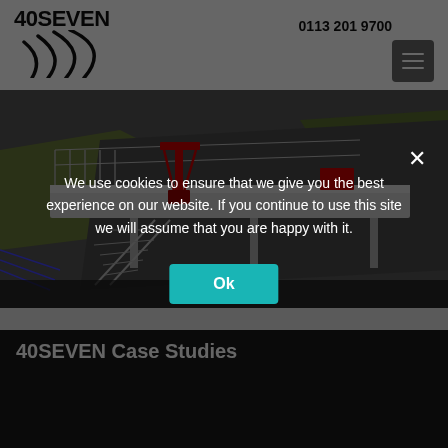[Figure (logo): 40SEVEN logo with signal wave arcs beneath the text]
0113 201 9700
[Figure (screenshot): 3D CAD rendering of a bridge/walkway structure with metal framework, railings, stairs, and red crane elements over a track area]
40SEVEN Case Studies
We use cookies to ensure that we give you the best experience on our website. If you continue to use this site we will assume that you are happy with it.